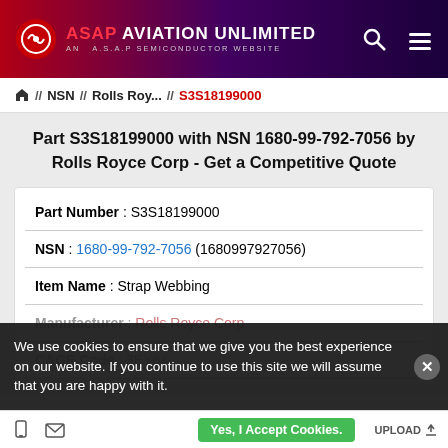ASAP AVIATION UNLIMITED — AN A.S.A.P SEMICONDUCTOR WEBSITE
Home // NSN // Rolls Roy... // S3S18199000
Part S3S18199000 with NSN 1680-99-792-7056 by Rolls Royce Corp - Get a Competitive Quote
| Field | Value |
| --- | --- |
| Part Number | S3S18199000 |
| NSN | 1680-99-792-7056 (1680997927056) |
| Item Name | Strap Webbing |
| Manufacturer | Rolls Royce Corp |
| CAGE Code | 3EY64 |
We use cookies to ensure that we give you the best experience on our website. If you continue to use this site we will assume that you are happy with it.
Yes, I Accept Cookies.